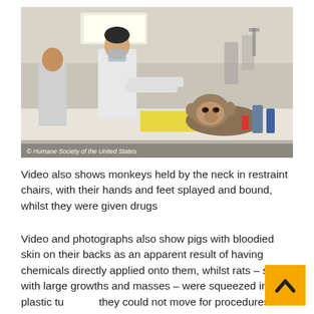[Figure (photo): A monkey restrained on a laboratory table, with researchers in white lab coats and protective gear performing a procedure. The image is watermarked '© Humane Society of the United States'.]
Video also shows monkeys held by the neck in restraint chairs, with their hands and feet splayed and bound, whilst they were given drugs
Video and photographs also show pigs with bloodied skin on their backs as an apparent result of having chemicals directly applied onto them, whilst rats – some with large growths and masses – were squeezed into plastic tu[bes so] they could not move for procedures.